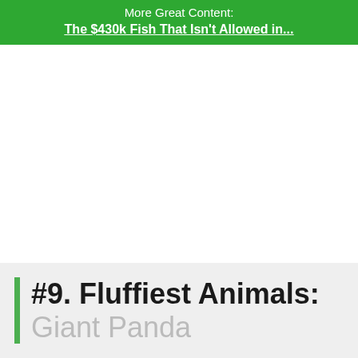More Great Content:
The $430k Fish That Isn't Allowed in...
#9. Fluffiest Animals:
Giant Panda